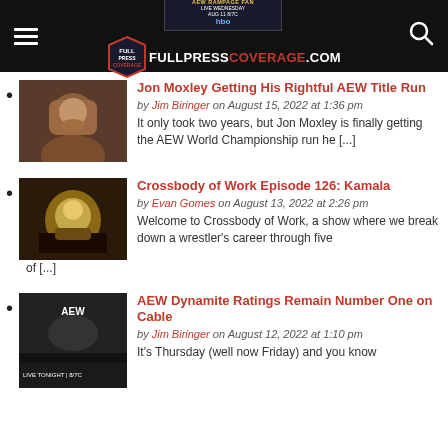FULLPRESSCOVERAGE.COM
Jon Moxley Getting His Rightful AEW Title Run — by Jim Biringer on August 15, 2022 at 1:36 pm — It only took two years, but Jon Moxley is finally getting the AEW World Championship run he [...]
Crossbody of Work Episode 126: Kamala — by Evan Gomes on August 13, 2022 at 2:26 pm — Welcome to Crossbody of Work, a show where we break down a wrestler's career through five of [...]
AEW Dynamite Ratings Remain Number One on Cable — by Jim Biringer on August 12, 2022 at 1:10 pm — It's Thursday (well now Friday) and you know